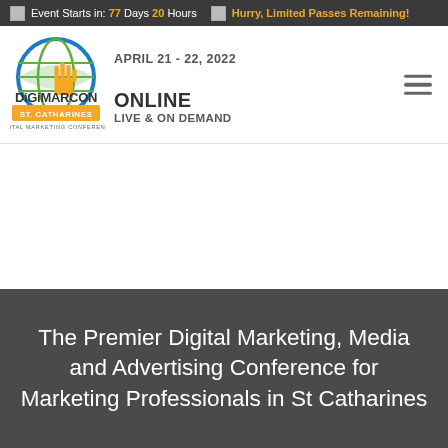Event Starts in: 77 Days 20 Hours | Hurry, Limited Passes Remaining!
[Figure (logo): DigiMarCon St. Catharines Digital Marketing Conference logo with globe and hand cursor icon]
APRIL 21 - 22, 2022
ONLINE
LIVE & ON DEMAND
The Premier Digital Marketing, Media and Advertising Conference for Marketing Professionals in St Catharines